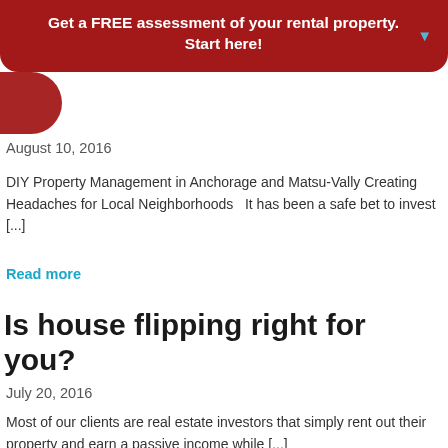Get a FREE assessment of your rental property. Start here!
August 10, 2016
DIY Property Management in Anchorage and Matsu-Vally Creating Headaches for Local Neighborhoods   It has been a safe bet to invest [...]
Read more
Is house flipping right for you?
July 20, 2016
Most of our clients are real estate investors that simply rent out their property and earn a passive income while [...]